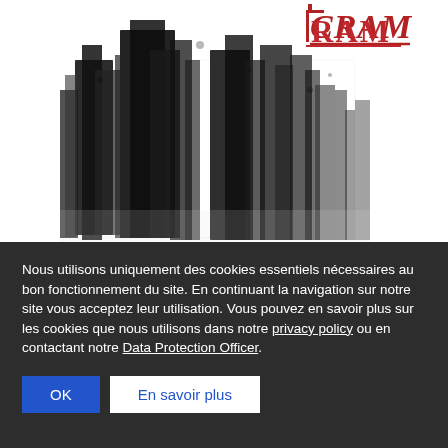[Figure (illustration): Black and white abstract ink/charcoal illustration of dark vertical city-like shapes or brushstrokes on white background, with a red hand-drawn logo reading 'CRAM' in the upper right corner.]
Nous utilisons uniquement des cookies essentiels nécessaires au bon fonctionnement du site. En continuant la navigation sur notre site vous acceptez leur utilisation. Vous pouvez en savoir plus sur les cookies que nous utilisons dans notre privacy policy ou en contactant notre Data Protection Officer.
OK
En savoir plus